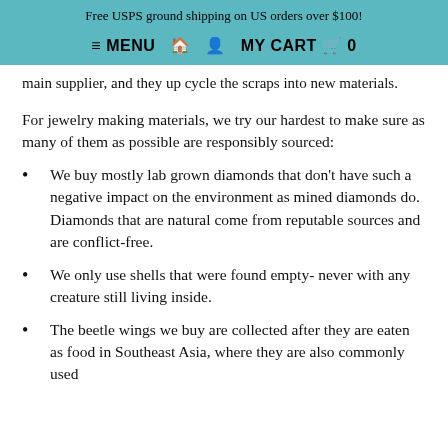Free USPS ground shipping on US orders over $100!
≡ MENU 🏠 👤 MY CART 🛒 0
main supplier, and they up cycle the scraps into new materials.
For jewelry making materials, we try our hardest to make sure as many of them as possible are responsibly sourced:
We buy mostly lab grown diamonds that don't have such a negative impact on the environment as mined diamonds do. Diamonds that are natural come from reputable sources and are conflict-free.
We only use shells that were found empty- never with any creature still living inside.
The beetle wings we buy are collected after they are eaten as food in Southeast Asia, where they are also commonly used for crafts.